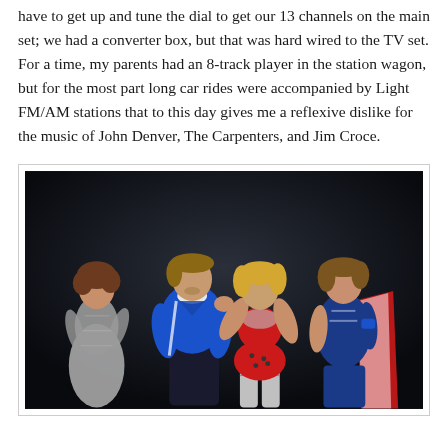have to get up and tune the dial to get our 13 channels on the main set; we had a converter box, but that was hard wired to the TV set. For a time, my parents had an 8-track player in the station wagon, but for the most part long car rides were accompanied by Light FM/AM stations that to this day gives me a reflexive dislike for the music of John Denver, The Carpenters, and Jim Croce.
[Figure (photo): A photograph of four people (ABBA) posing against a dark background. On the left, a woman in a silver glittery jumpsuit. Center-left, a man in a blue velvet jacket. Center-right, a woman in a red sequined crop top and red shorts with silver boots. Far right, a man in a blue sleeveless outfit with a red and white cape.]